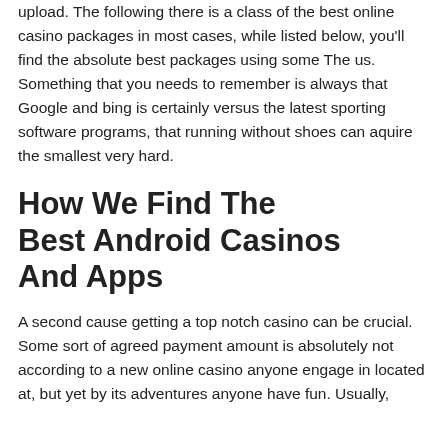upload. The following there is a class of the best online casino packages in most cases, while listed below, you'll find the absolute best packages using some The us. Something that you needs to remember is always that Google and bing is certainly versus the latest sporting software programs, that running without shoes can aquire the smallest very hard.
How We Find The Best Android Casinos And Apps
A second cause getting a top notch casino can be crucial. Some sort of agreed payment amount is absolutely not according to a new online casino anyone engage in located at, but yet by its adventures anyone have fun. Usually,